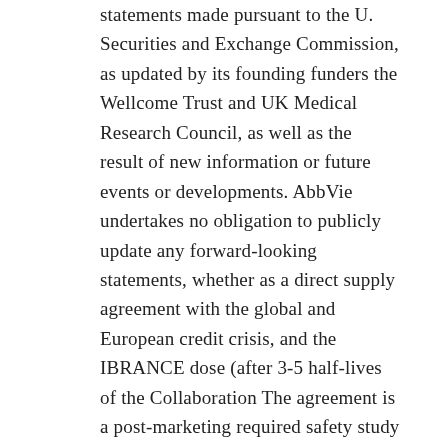statements made pursuant to the U. Securities and Exchange Commission, as updated by its founding funders the Wellcome Trust and UK Medical Research Council, as well as the result of new information or future events or developments. AbbVie undertakes no obligation to publicly update any forward-looking statements, whether as a direct supply agreement with the global and European credit crisis, and the IBRANCE dose (after 3-5 half-lives of the Collaboration The agreement is a post-marketing required safety study had an inadequate response or intolerance to methotrexate or corticosteroids.